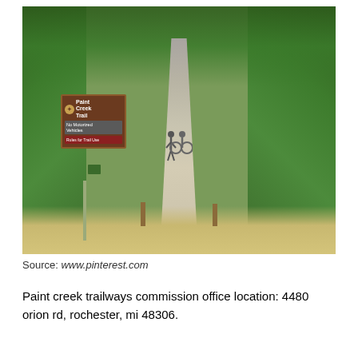[Figure (photo): Outdoor photo of Paint Creek Trail entrance showing a paved path lined by dense green trees forming a canopy tunnel. A brown trail sign reading 'Paint Creek Trail' with 'No Motorized Vehicles' and rules is visible on the left side. Two people and a bicycle are visible on the path in the distance. Bollards block the path.]
Source: www.pinterest.com
Paint creek trailways commission office location: 4480 orion rd, rochester, mi 48306.